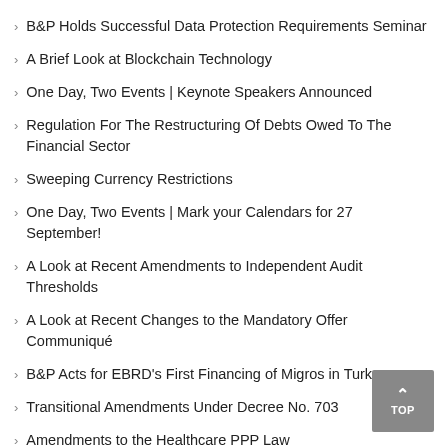B&P Holds Successful Data Protection Requirements Seminar
A Brief Look at Blockchain Technology
One Day, Two Events | Keynote Speakers Announced
Regulation For The Restructuring Of Debts Owed To The Financial Sector
Sweeping Currency Restrictions
One Day, Two Events | Mark your Calendars for 27 September!
A Look at Recent Amendments to Independent Audit Thresholds
A Look at Recent Changes to the Mandatory Offer Communiqué
B&P Acts for EBRD's First Financing of Migros in Turkey
Transitional Amendments Under Decree No. 703
Amendments to the Healthcare PPP Law
New Procedures for the Reporting Requirements under the FDI Regulation
New Developments on the Upcoming Offshore Wind Energy…